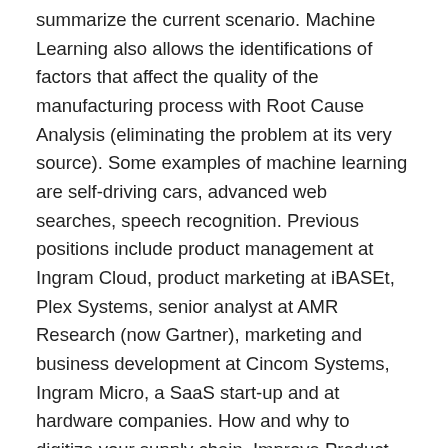summarize the current scenario. Machine Learning also allows the identifications of factors that affect the quality of the manufacturing process with Root Cause Analysis (eliminating the problem at its very source). Some examples of machine learning are self-driving cars, advanced web searches, speech recognition. Previous positions include product management at Ingram Cloud, product marketing at iBASEt, Plex Systems, senior analyst at AMR Research (now Gartner), marketing and business development at Cincom Systems, Ingram Micro, a SaaS start-up and at hardware companies. How and why to digitize your supply chain. Improve Product Quality Control and Yield Rate. The fact is that data is cheaper than ever to capture and store. Take Gmail for example. Hidden layers can be added as required, depending on the complexity of the problem. (2019). The learning process is completed when the algorithm reaches an acceptable level of accuracy. Initially, researchers started out with Supervised Learning. Industry Week. Otto, S. (2018). Retailers, for example, use machine learning to predict what inventory will sell best in